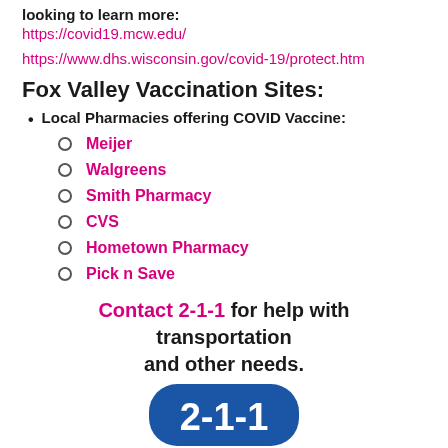looking to learn more:
https://covid19.mcw.edu/
https://www.dhs.wisconsin.gov/covid-19/protect.htm
Fox Valley Vaccination Sites:
Local Pharmacies offering COVID Vaccine:
Meijer
Walgreens
Smith Pharmacy
CVS
Hometown Pharmacy
Pick n Save
Contact 2-1-1 for help with transportation and other needs.
[Figure (logo): Blue 2-1-1 logo at bottom of page]